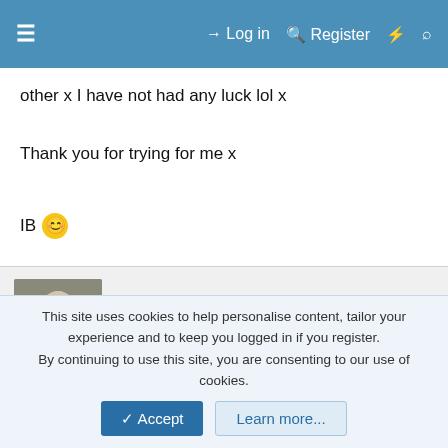≡  Log in  Register  ⚡  🔍
other x I have not had any luck lol x
Thank you for trying for me x
IB 🙂
p.risboy
Loyal Member  Staff member  Moderator
22 July 2011  #4
This should be him.

Frederick John Blenkarn
Apr-May-Jun 1888
This site uses cookies to help personalise content, tailor your experience and to keep you logged in if you register.
By continuing to use this site, you are consenting to our use of cookies.
Accept  Learn more...